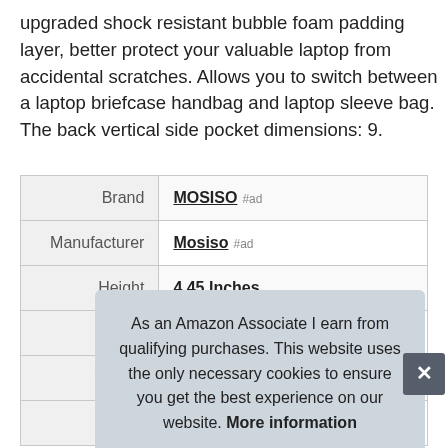upgraded shock resistant bubble foam padding layer, better protect your valuable laptop from accidental scratches. Allows you to switch between a laptop briefcase handbag and laptop sleeve bag. The back vertical side pocket dimensions: 9.
|  |  |
| --- | --- |
| Brand | MOSISO #ad |
| Manufacturer | Mosiso #ad |
| Height | 4.45 Inches |
| Length | 0.55 Inches |
| Weight | 0.55 Pounds |
| P |  |
As an Amazon Associate I earn from qualifying purchases. This website uses the only necessary cookies to ensure you get the best experience on our website. More information